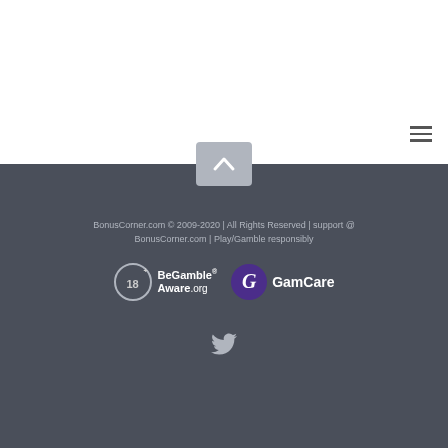[Figure (other): Hamburger menu icon (three horizontal lines) in navigation bar]
BonusCorner.com © 2009-2020 | All Rights Reserved | support @ BonusCorner.com | Play/Gamble responsibly
[Figure (logo): BeGambleAware.org logo with 18+ circle]
[Figure (logo): GamCare logo with purple G circle]
[Figure (other): Twitter bird icon]